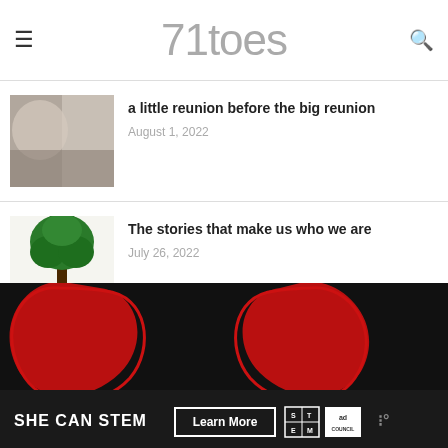71toes
a little reunion before the big reunion
August 1, 2022
The stories that make us who we are
July 26, 2022
[Figure (infographic): SHE CAN STEM advertisement with red glasses shapes on black background and Learn More button, STEM and Ad Council logos]